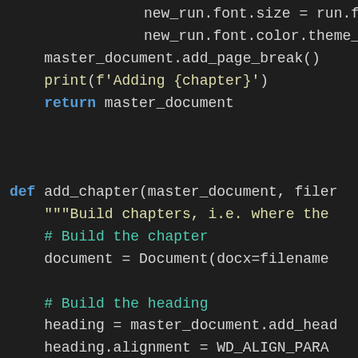[Figure (screenshot): Python code editor screenshot showing code with syntax highlighting on dark background. Code includes indented lines with new_run.font.size, new_run.font.color.theme_, master_document.add_page_break(), print(f'Adding {chapter}'), return master_document, def add_chapter(master_document, file..., docstring Build chapters i.e. where the, # Build the chapter comment, document = Document(docx=filename, # Build the heading comment, heading = master_document.add_head, heading.alignment = WD_ALIGN_PARA]